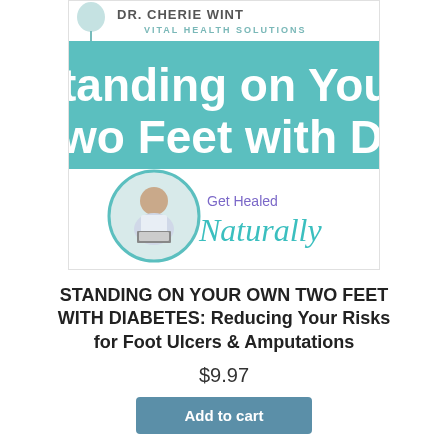[Figure (illustration): Book/product cover image showing Dr. Cherie Winter Vital Health Solutions branding. Top section has white background with partial text 'DR. CHERIE WINT...' and 'VITAL HEALTH SOLUTIONS'. Middle section shows a teal/turquoise banner with large white text 'tanding on Your Own Two Feet with Diabete' (text is cropped). Bottom section shows a white background with a circular photo of a woman (doctor) at a desk, next to text 'Get Healed Naturally' in purple and teal cursive fonts.]
STANDING ON YOUR OWN TWO FEET WITH DIABETES: Reducing Your Risks for Foot Ulcers & Amputations
$9.97
Add to cart